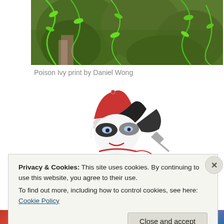[Figure (illustration): Partial view of a Poison Ivy illustration showing green skin, vines, and leaves by Daniel Wong]
Poison Ivy print by Daniel Wong
[Figure (illustration): Illustration of Harley Quinn character with red and black jester hat, mask, and playful expression]
Privacy & Cookies: This site uses cookies. By continuing to use this website, you agree to their use.
To find out more, including how to control cookies, see here: Cookie Policy
Close and accept